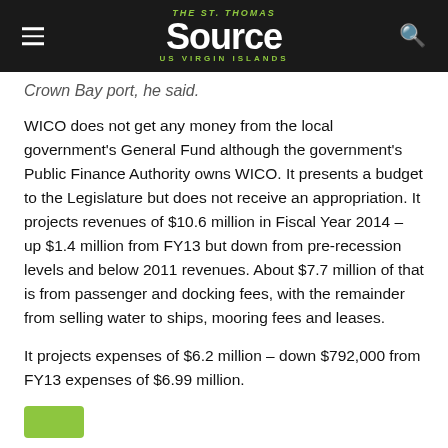THE St. Thomas Source US VIRGIN ISLANDS
Crown Bay port, he said.
WICO does not get any money from the local government's General Fund although the government's Public Finance Authority owns WICO. It presents a budget to the Legislature but does not receive an appropriation. It projects revenues of $10.6 million in Fiscal Year 2014 – up $1.4 million from FY13 but down from pre-recession levels and below 2011 revenues. About $7.7 million of that is from passenger and docking fees, with the remainder from selling water to ships, mooring fees and leases.
It projects expenses of $6.2 million – down $792,000 from FY13 expenses of $6.99 million.